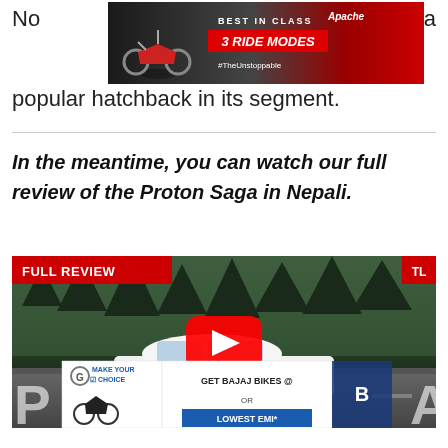No... a popular hatchback in its segment.
[Figure (photo): Motorcycle advertisement banner: Best in Class 3 Ride Modes #TheUnstoppable]
In the meantime, you can watch our full review of the Proton Saga in Nepali.
[Figure (screenshot): YouTube video thumbnail for Proton Saga full review in Nepali, with FULL REVIEW badge and TL logo, play button overlay, and Bajaj bikes advertisement overlay at bottom]